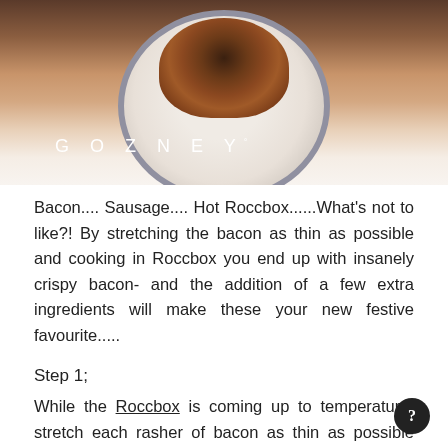[Figure (photo): Food photo showing bacon-wrapped sausages on a white plate with blue rim, on a light background. Gozney logo in white text overlaid on the bottom left of the image.]
Bacon.... Sausage.... Hot Roccbox......What's not to like?! By stretching the bacon as thin as possible and cooking in Roccbox you end up with insanely crispy bacon- and the addition of a few extra ingredients will make these your new festive favourite.....
Step 1;
While the Roccbox is coming up to temperature, stretch each rasher of bacon as thin as possible with a knife- this will help the crispiness- and wrap a sausage in each piece.
Step 2;
Put the sausages in a cast iron pan and drizzle over the olive oil. Cover with foil and cook for 6 minutes, rotating halfway